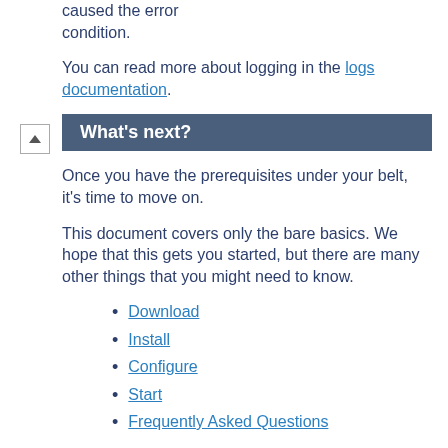caused the error condition.
You can read more about logging in the logs documentation.
What's next?
Once you have the prerequisites under your belt, it's time to move on.
This document covers only the bare basics. We hope that this gets you started, but there are many other things that you might need to know.
Download
Install
Configure
Start
Frequently Asked Questions